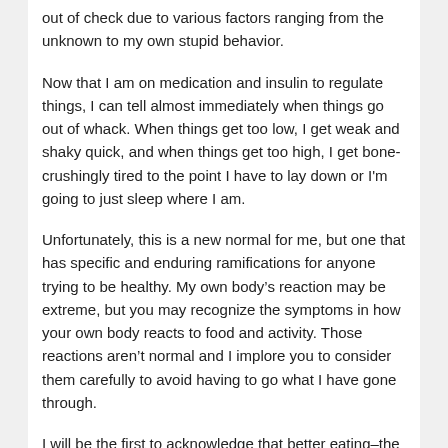out of check due to various factors ranging from the unknown to my own stupid behavior.
Now that I am on medication and insulin to regulate things, I can tell almost immediately when things go out of whack. When things get too low, I get weak and shaky quick, and when things get too high, I get bone-crushingly tired to the point I have to lay down or I'm going to just sleep where I am.
Unfortunately, this is a new normal for me, but one that has specific and enduring ramifications for anyone trying to be healthy. My own body’s reaction may be extreme, but you may recognize the symptoms in how your own body reacts to food and activity. Those reactions aren’t normal and I implore you to consider them carefully to avoid having to go what I have gone through.
I will be the first to acknowledge that better eating–the real key to blood sugar management and to avoiding a whole host of chronic illnesses–is time consuming, expensive,